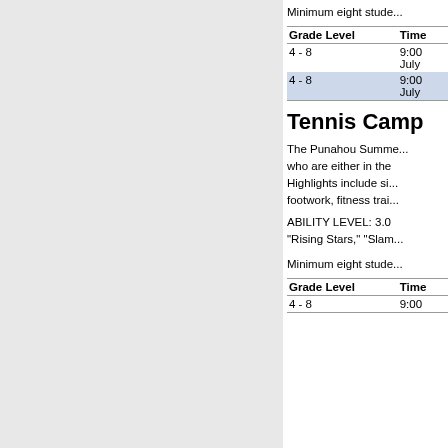Minimum eight stude...
| Grade Level | Time |
| --- | --- |
| 4 - 8 | 9:00
July |
| 4 - 8 | 9:00
July |
Tennis Camp
The Punahou Summe... who are either in the... Highlights include si... footwork, fitness trai...
ABILITY LEVEL: 3.0 “Rising Stars,” “Slam...
Minimum eight stude...
| Grade Level | Time |
| --- | --- |
| 4 - 8 | 9:00 |